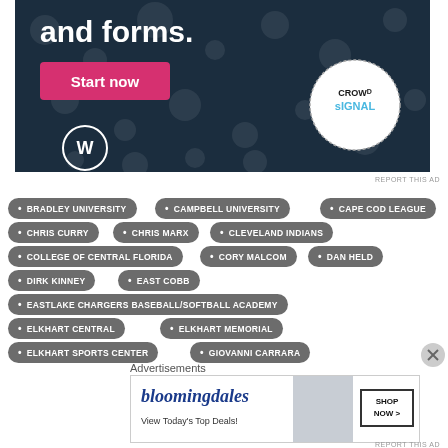[Figure (other): WordPress and Crowdsignal advertisement banner with dark navy background, 'and forms.' text, pink 'Start now' button, WordPress logo, and Crowdsignal circular logo]
REPORT THIS AD
BRADLEY UNIVERSITY
CAMPBELL UNIVERSITY
CAPE COD LEAGUE
CHRIS CURRY
CHRIS MARX
CLEVELAND INDIANS
COLLEGE OF CENTRAL FLORIDA
CORY MALCOM
DAN HELD
DIRK KINNEY
EAST COBB
EASTLAKE CHARGERS BASEBALL/SOFTBALL ACADEMY
ELKHART CENTRAL
ELKHART MEMORIAL
ELKHART SPORTS CENTER
GIOVANNI CARRARA
Advertisements
[Figure (other): Bloomingdales advertisement with logo, 'View Today's Top Deals!' text, woman wearing hat, and 'SHOP NOW >' button]